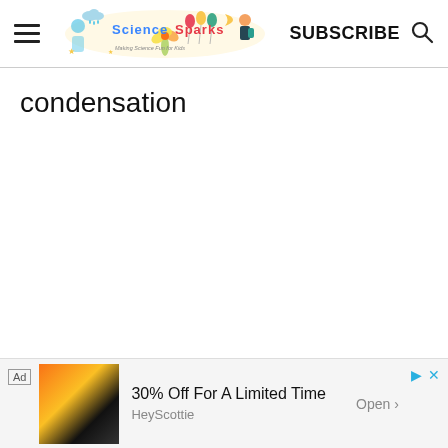Science Sparks — SUBSCRIBE
condensation
[Figure (other): Advertisement banner: 30% Off For A Limited Time — HeyScottie, Open]